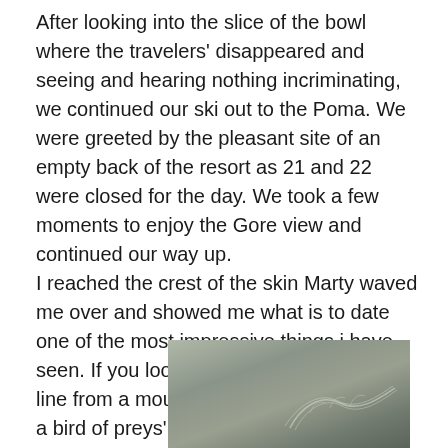After looking into the slice of the bowl where the travelers' disappeared and seeing and hearing nothing incriminating, we continued our ski out to the Poma. We were greeted by the pleasant site of an empty back of the resort as 21 and 22 were closed for the day. We took a few moments to enjoy the Gore view and continued our way up.
I reached the crest of the skin Marty waved me over and showed me what is to date one of the most impressive things i have seen. If you look closely you will see the line from a mouse and then the mark from a bird of preys' wings, a true “sick bird”. After examining the natural art work, it was just a few more strides before we arrived at our decision point.
[Figure (photo): A photograph showing snow with marks or tracks, partially visible at the bottom of the page. The image shows what appears to be bird wing marks in snow.]